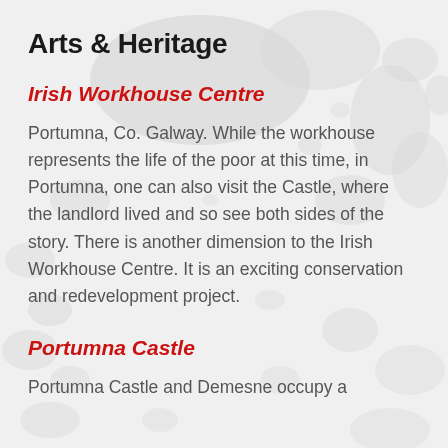Arts & Heritage
Irish Workhouse Centre
Portumna, Co. Galway. While the workhouse represents the life of the poor at this time, in Portumna, one can also visit the Castle, where the landlord lived and so see both sides of the story. There is another dimension to the Irish Workhouse Centre. It is an exciting conservation and redevelopment project.
Portumna Castle
Portumna Castle and Demesne occupy a